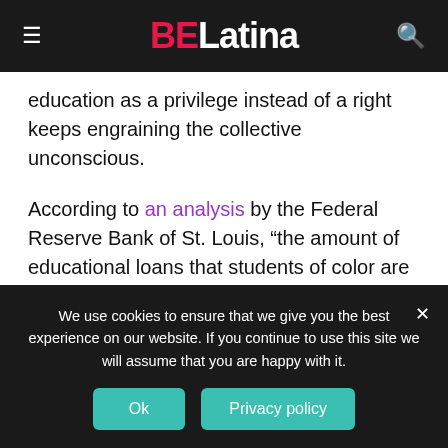BE Latina
education as a privilege instead of a right keeps engraining the collective unconscious.
According to an analysis by the Federal Reserve Bank of St. Louis, “the amount of educational loans that students of color are taking out to finance their higher education may be contributing to racial wealth gaps.”
Considering federal financial aid decisions are primarily based on income, not wealth, “existing racial wealth disparities and soaring higher education costs may actually
We use cookies to ensure that we give you the best experience on our website. If you continue to use this site we will assume that you are happy with it.